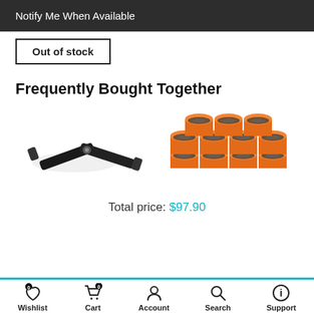Notify Me When Available
Out of stock
Frequently Bought Together
[Figure (photo): Two product images side by side: a black metal tubing bender tool on the left, and a group of orange tubing fittings/connectors on the right.]
Total price: $97.90
Wishlist 0  Cart 0  Account  Search  Support